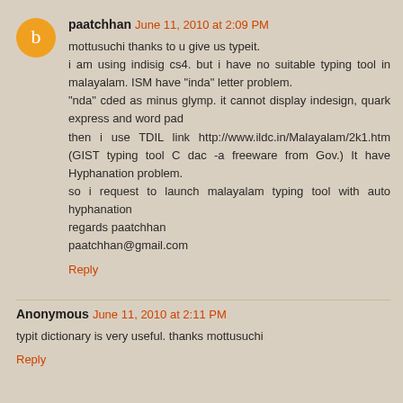paatchhan  June 11, 2010 at 2:09 PM
mottusuchi thanks to u give us typeit.
i am using indisig cs4. but i have no suitable typing tool in malayalam. ISM have "inda" letter problem.
"nda" cded as minus glymp. it cannot display indesign, quark express and word pad
then i use TDIL link http://www.ildc.in/Malayalam/2k1.htm (GIST typing tool C dac -a freeware from Gov.) It have Hyphanation problem.
so i request to launch malayalam typing tool with auto hyphanation
regards paatchhan
paatchhan@gmail.com
Reply
Anonymous  June 11, 2010 at 2:11 PM
typit dictionary is very useful. thanks mottusuchi
Reply